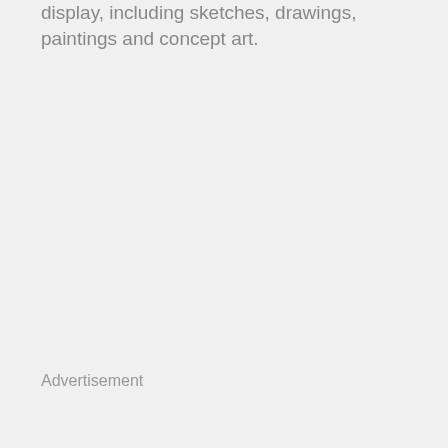display, including sketches, drawings, paintings and concept art.
Advertisement